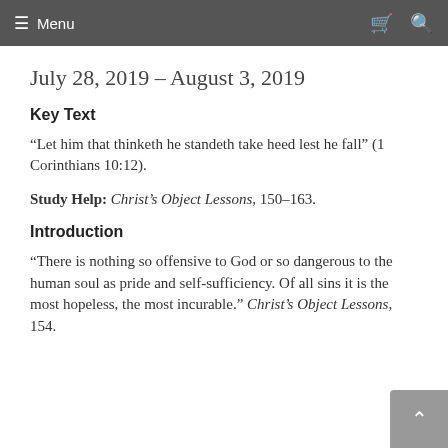Menu
July 28, 2019 – August 3, 2019
Key Text
“Let him that thinketh he standeth take heed lest he fall” (1 Corinthians 10:12).
Study Help: Christ’s Object Lessons, 150–163.
Introduction
“There is nothing so offensive to God or so dangerous to the human soul as pride and self-sufficiency. Of all sins it is the most hopeless, the most incurable.” Christ’s Object Lessons, 154.